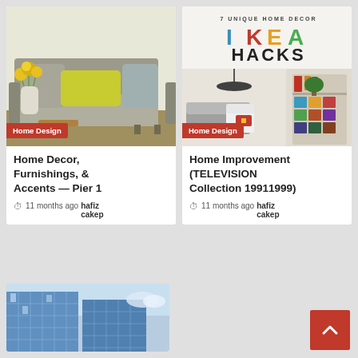[Figure (photo): Gray sofa with yellow pillow and yellow flowers in vase, living room home decor photo]
Home Design
Home Decor, Furnishings, & Accents — Pier 1
11 months ago  hafiz cakep
[Figure (photo): IKEA Hacks - 7 Unique Home Decor collage with living room featuring colorful furniture and pendant lamp]
Home Design
Home Improvement (TELEVISION Collection 19911999)
11 months ago  hafiz cakep
[Figure (photo): Partial view of blue glass building exterior]